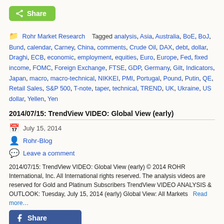[Figure (other): Green share button with share icon]
Rohr Market Research  Tagged analysis, Asia, Australia, BoE, BoJ, Bund, calendar, Carney, China, comments, Crude Oil, DAX, debt, dollar, Draghi, ECB, economic, employment, equities, Euro, Europe, Fed, fixed income, FOMC, Foreign Exchange, FTSE, GDP, Germany, Gilt, Indicators, Japan, macro, macro-technical, NIKKEI, PMI, Portugal, Pound, Putin, QE, Retail Sales, S&P 500, T-note, taper, technical, TREND, UK, Ukraine, US dollar, Yellen, Yen
2014/07/15: TrendView VIDEO: Global View (early)
July 15, 2014
Rohr-Blog
Leave a comment
2014/07/15: TrendView VIDEO: Global View (early) © 2014 ROHR International, Inc. All International rights reserved. The analysis videos are reserved for Gold and Platinum Subscribers TrendView VIDEO ANALYSIS & OUTLOOK: Tuesday, July 15, 2014 (early) Global View: All Markets   Read more…
[Figure (other): Facebook Share button]
[Figure (other): Twitter Tweet button]
[Figure (other): Email button]